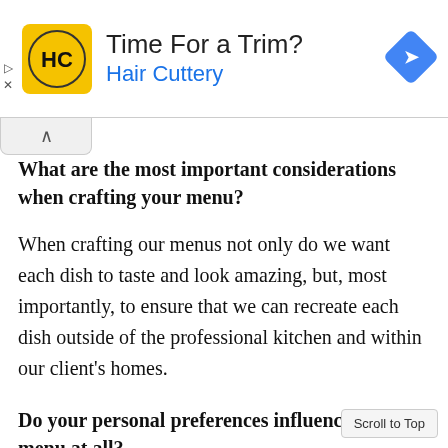[Figure (other): Hair Cuttery advertisement banner with logo (yellow square with HC letters), text 'Time For a Trim?' and 'Hair Cuttery' in blue, and a blue diamond navigation icon on the right.]
What are the most important considerations when crafting your menu?
When crafting our menus not only do we want each dish to taste and look amazing, but, most importantly, to ensure that we can recreate each dish outside of the professional kitchen and within our client’s homes.
Do your personal preferences influence the menu at all?
I try to create dishes that I enjoy cooking but also enjoy eating.